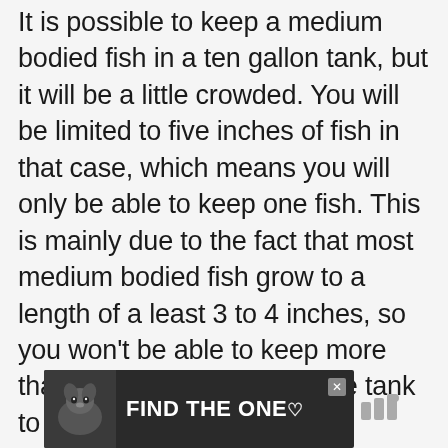It is possible to keep a medium bodied fish in a ten gallon tank, but it will be a little crowded. You will be limited to five inches of fish in that case, which means you will only be able to keep one fish. This is mainly due to the fact that most medium bodied fish grow to a length of a least 3 to 4 inches, so you won't be able to keep more than one without pushing the tank to its limits.
[Figure (other): Advertisement banner with dark background showing a dog image on the left and the text 'FIND THE ONE' in bold white letters with a heart symbol, and a close button in the top right corner.]